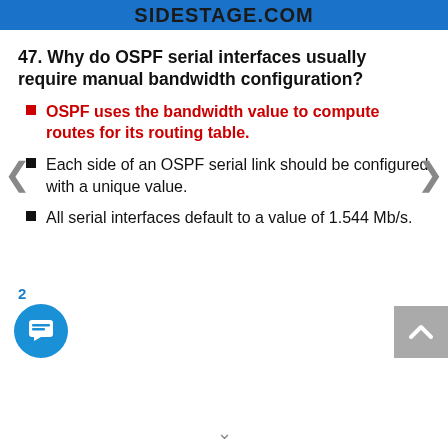SIDESTAGE.COM
47. Why do OSPF serial interfaces usually require manual bandwidth configuration?
OSPF uses the bandwidth value to compute routes for its routing table.
Each side of an OSPF serial link should be configured with a unique value.
All serial interfaces default to a value of 1.544 Mb/s.